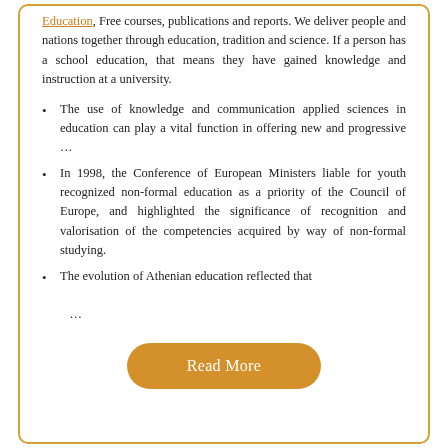Education, Free courses, publications and reports. We deliver people and nations together through education, tradition and science. If a person has a school education, that means they have gained knowledge and instruction at a university.
The use of knowledge and communication applied sciences in education can play a vital function in offering new and progressive …
In 1998, the Conference of European Ministers liable for youth recognized non-formal education as a priority of the Council of Europe, and highlighted the significance of recognition and valorisation of the competencies acquired by way of non-formal studying.
The evolution of Athenian education reflected that
…